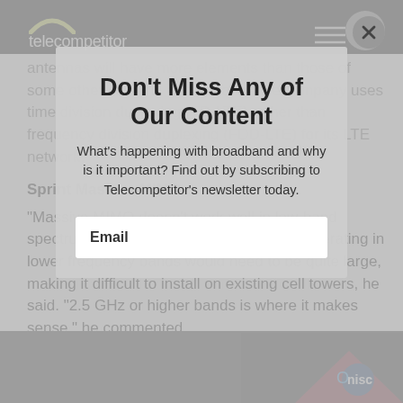telecompetitor
antennas will have more elements than those of some other carriers, and because the company uses time division duplexing (TD-LTE) rather than frequency division duplexing (FDD-LTE) for its LTE network.
Sprint Massive MIMO
“Massive MIMO doesn’t work well in low-band spectrum,” he said, noting that antennas operating in lower frequency bands would need to be quite large, making it difficult to install on existing cell towers, he said. “2.5 GHz or higher bands is where it makes sense,” he commented.
Don’t Miss Any of Our Content
What’s happening with broadband and why is it important? Find out by subscribing to Telecompetitor’s newsletter today.
Email